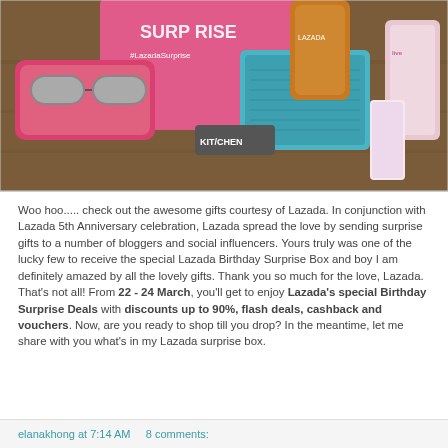[Figure (photo): Photo of Lazada surprise birthday box contents including eyeglasses in a pink case, a blue textured pouch, Kitchen-branded item, and beauty/personal care products on a wooden surface. A pink box with 'SURPRISE' and '#LazadaSurprise' text is visible in the background.]
Woo hoo..... check out the awesome gifts courtesy of Lazada. In conjunction with Lazada 5th Anniversary celebration, Lazada spread the love by sending surprise gifts to a number of bloggers and social influencers. Yours truly was one of the lucky few to receive the special Lazada Birthday Surprise Box and boy I am definitely amazed by all the lovely gifts. Thank you so much for the love, Lazada. That's not all! From 22 - 24 March, you'll get to enjoy Lazada's special Birthday Surprise Deals with discounts up to 90%, flash deals, cashback and vouchers. Now, are you ready to shop till you drop? In the meantime, let me share with you what's in my Lazada surprise box.
elanakhong at 7:14 AM    8 comments: